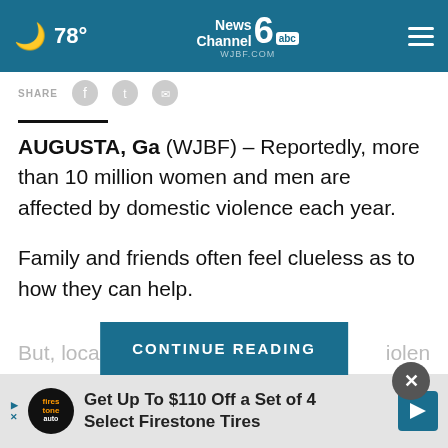78° News Channel 6 ABC WJBF.COM
AUGUSTA, Ga (WJBF) – Reportedly, more than 10 million women and men are affected by domestic violence each year.
Family and friends often feel clueless as to how they can help.
But, local advo ... iolence say
[Figure (other): CONTINUE READING button overlay]
[Figure (other): Advertisement banner: Get Up To $110 Off a Set of 4 Select Firestone Tires, Firestone Auto logo on left, blue navigation arrow icon on right]